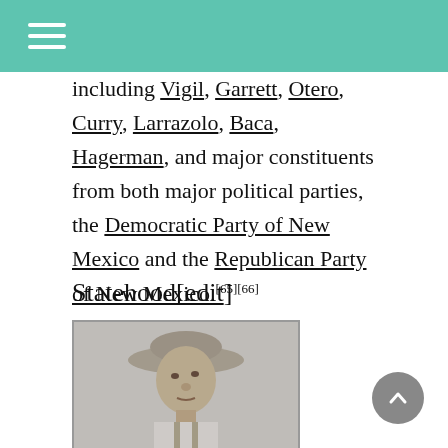including Vigil, Garrett, Otero, Curry, Larrazolo, Baca, Hagerman, and major constituents from both major political parties, the Democratic Party of New Mexico and the Republican Party of New Mexico.[65][66]
Statehood[edit]
[Figure (photo): Black and white photograph of a young boy wearing a wide-brimmed hat, looking upward and to the side, wearing suspenders and a collared shirt.]